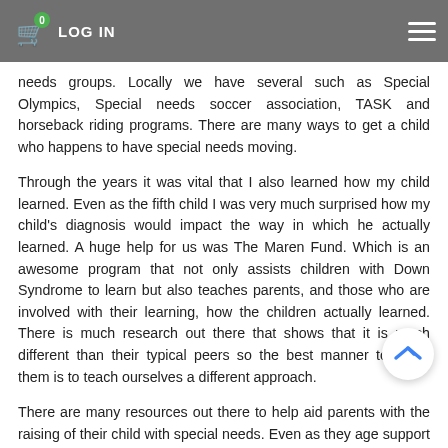LOG IN  [cart icon with badge 0] [hamburger menu]
their peers. Very accepting because, although different in some ways, the child was still a child of their own age. As he grew and the cognitive abilities of his peers kicked in that is when we sought programs for special needs groups. Locally we have several such as Special Olympics, Special needs soccer association, TASK and horseback riding programs. There are many ways to get a child who happens to have special needs moving.
Through the years it was vital that I also learned how my child learned. Even as the fifth child I was very much surprised how my child's diagnosis would impact the way in which he actually learned. A huge help for us was The Maren Fund. Which is an awesome program that not only assists children with Down Syndrome to learn but also teaches parents, and those who are involved with their learning, how the children actually learned. There is much research out there that shows that it is much different than their typical peers so the best manner to teach them is to teach ourselves a different approach.
There are many resources out there to help aid parents with the raising of their child with special needs. Even as they age support will need to be given to them. So, it is imperative that parents seek out all that is available and be their foundation of learning and development. I cannot stress enough the importance of that foundation and the willingness to help your child to continue to grow and reach all of their capabilities. It truly starts from one and will continue for as long as they require it. This path has been quite the blessing I will say. I have learned so much from my son in this short 12